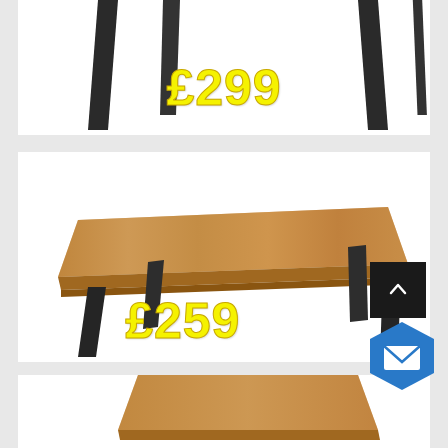[Figure (photo): Product listing card 1: Partial view of furniture legs (black angled legs) against white background, price label £299 in yellow]
[Figure (photo): Product listing card 2: Dining table with walnut/wood-effect top and black angled legs, price label £259 in yellow. Scroll-to-top button (dark) and mail/contact button (blue hexagon) overlaid bottom-right.]
[Figure (photo): Product listing card 3 (partial): Bottom portion showing start of another furniture item with wood-effect top]